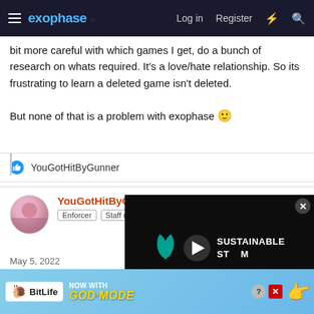exophase — Log in | Register
bit more careful with which games I get, do a bunch of research on whats required. It's a love/hate relationship. So its frustrating to learn a deleted game isn't deleted.

But none of that is a problem with exophase 🙂
YouGotHitByGunner
YouGotHitByGunner
Enforcer | Staff member
May 5, 2022
We're happy to have you here. Our team will discuss your suggest... impleme...
[Figure (screenshot): Sustainable Steam video overlay with play button and progress bar]
[Figure (screenshot): BitLife ad overlay: NOW WITH GOD MODE]